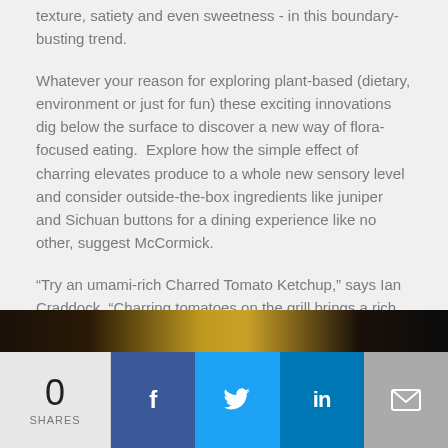texture, satiety and even sweetness - in this boundary-busting trend.
Whatever your reason for exploring plant-based (dietary, environment or just for fun) these exciting innovations dig below the surface to discover a new way of flora-focused eating.  Explore how the simple effect of charring elevates produce to a whole new sensory level and consider outside-the-box ingredients like juniper and Sichuan buttons for a dining experience like no other, suggest McCormick.
“Try an umami-rich Charred Tomato Ketchup,” says Ian Craddock. “Charring tomatoes on the grill brings a rich, complex flavour twist to this umami-packed favourite.”
[Figure (photo): Partial view of a food dish with golden-brown colour, dark background]
0 SHARES | Facebook | Twitter | LinkedIn | Email